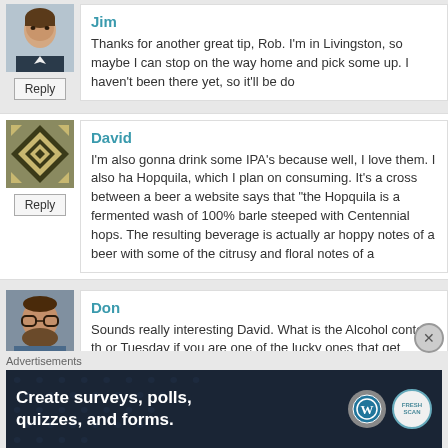[Figure (photo): Avatar photo of Jim, a young man with short brown hair]
Jim
Thanks for another great tip, Rob. I'm in Livingston, so maybe home and pick some up. I haven't been there yet, so it'll be do
Reply
[Figure (illustration): Avatar for David - geometric diamond/rhombus pattern in olive green and cream]
David
I'm also gonna drink some IPA's because well, I love them. I also ha Hopquila, which I plan on consuming. It's a cross between a beer a website says that "the Hopquila is a fermented wash of 100% barle steeped with Centennial hops. The resulting beverage is actually ar hoppy notes of a beer with some of the citrusy and floral notes of a
Reply
[Figure (photo): Avatar photo of Don, a bearded man with glasses]
Don
Sounds really interesting David. What is the Alcohol content th or Tuesday if you are one of the lucky ones that get Monday of
Reply
Advertisements
[Figure (infographic): Advertisement banner: dark blue background with dot pattern, text reads 'Create surveys, polls, quizzes, and forms.' with WordPress logo and a badge]